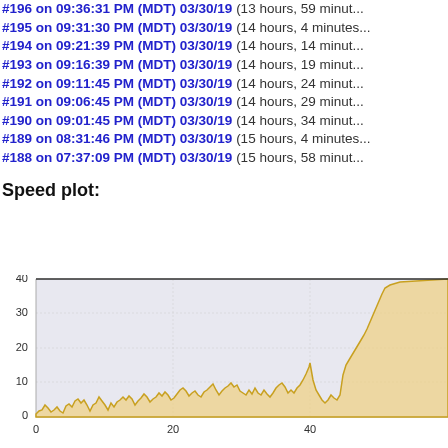#196 on 09:36:31 PM (MDT) 03/30/19 (13 hours, 59 minutes...)
#195 on 09:31:30 PM (MDT) 03/30/19 (14 hours, 4 minutes...)
#194 on 09:21:39 PM (MDT) 03/30/19 (14 hours, 14 minutes...)
#193 on 09:16:39 PM (MDT) 03/30/19 (14 hours, 19 minutes...)
#192 on 09:11:45 PM (MDT) 03/30/19 (14 hours, 24 minutes...)
#191 on 09:06:45 PM (MDT) 03/30/19 (14 hours, 29 minutes...)
#190 on 09:01:45 PM (MDT) 03/30/19 (14 hours, 34 minutes...)
#189 on 08:31:46 PM (MDT) 03/30/19 (15 hours, 4 minutes...)
#188 on 07:37:09 PM (MDT) 03/30/19 (15 hours, 58 minutes...)
Speed plot:
[Figure (area-chart): Area chart showing speed over time (x-axis 0 to ~60+), y-axis 0 to 40. Low noise values near 0-9 for most of the range with a spike to ~16 around x=40, then a steep rise toward 25+ at the far right.]